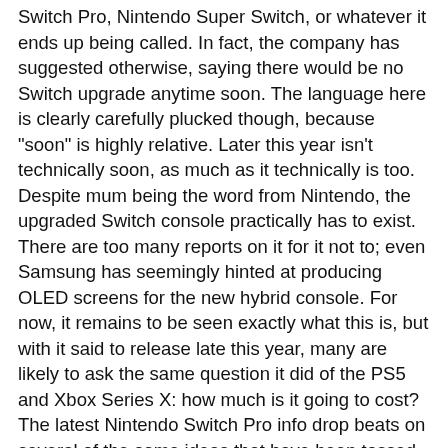Switch Pro, Nintendo Super Switch, or whatever it ends up being called. In fact, the company has suggested otherwise, saying there would be no Switch upgrade anytime soon. The language here is clearly carefully plucked though, because "soon" is highly relative. Later this year isn't technically soon, as much as it technically is too. Despite mum being the word from Nintendo, the upgraded Switch console practically has to exist. There are too many reports on it for it not to; even Samsung has seemingly hinted at producing OLED screens for the new hybrid console. For now, it remains to be seen exactly what this is, but with it said to release late this year, many are likely to ask the same question it did of the PS5 and Xbox Series X: how much is it going to cost? The latest Nintendo Switch Pro info drop beats on several of the same ideas that have been tossed around. According to it, it'll feature a 7-inch 720p OLED screen, a DLSS-style CPU...